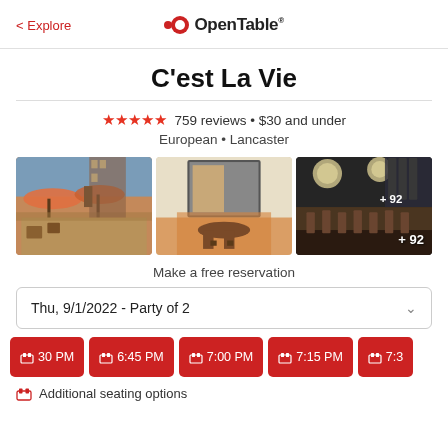< Explore | OpenTable
C'est La Vie
★★★★★ 759 reviews • $30 and under
European • Lancaster
[Figure (photo): Outdoor patio with orange umbrellas and tables on cobblestone, historic building in background]
[Figure (photo): Interior dining area with round table, cross-back chairs, checkered booth seating, and wall art]
[Figure (photo): Dark bar interior with globe lights, bar stools and seating area, + 92 overlay]
Make a free reservation
Thu, 9/1/2022 - Party of 2
6:30 PM  6:45 PM  7:00 PM  7:15 PM  7:3
Additional seating options